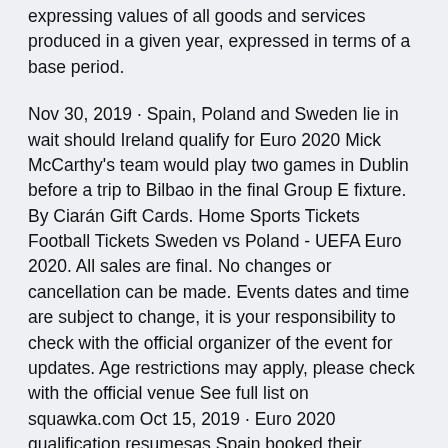expressing values of all goods and services produced in a given year, expressed in terms of a base period.
Nov 30, 2019 · Spain, Poland and Sweden lie in wait should Ireland qualify for Euro 2020 Mick McCarthy's team would play two games in Dublin before a trip to Bilbao in the final Group E fixture. By Ciarán Gift Cards. Home Sports Tickets Football Tickets Sweden vs Poland - UEFA Euro 2020. All sales are final. No changes or cancellation can be made. Events dates and time are subject to change, it is your responsibility to check with the official organizer of the event for updates. Age restrictions may apply, please check with the official venue See full list on squawka.com Oct 15, 2019 · Euro 2020 qualification resumesas Spain booked their tournament place Robert Moreno's side took their spot after a late draw with Sweden in Stockholm